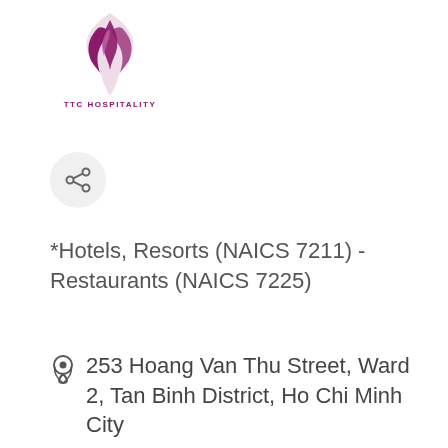[Figure (logo): TTC Hospitality logo — stylized flame/swirl in purple/magenta with text 'TTC HOSPITALITY' below]
[Figure (other): Share icon button — circular light grey background with a share/network icon]
*Hotels, Resorts (NAICS 7211) - Restaurants (NAICS 7225)
253 Hoang Van Thu Street, Ward 2, Tan Binh District, Ho Chi Minh City